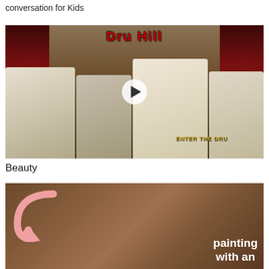conversation for Kids
[Figure (photo): Dru Hill album cover showing four men in white outfits against a dark red ornate background, with a play button overlay in the center. Red stylized text 'Dru Hill' at top, gold text at bottom right.]
Beauty
[Figure (photo): Thumbnail image with a pink/salmon curved arrow on the left and bold white text reading 'painting with an' on a textured brown/earth-toned background.]